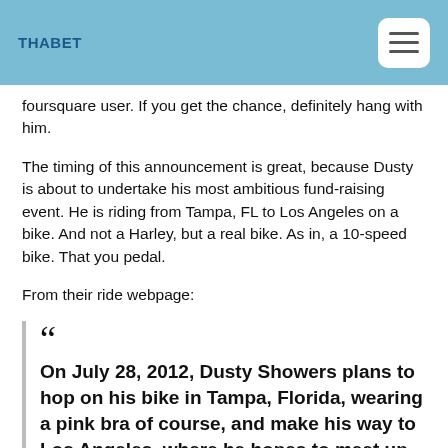THABET
foursquare user. If you get the chance, definitely hang with him.
The timing of this announcement is great, because Dusty is about to undertake his most ambitious fund-raising event. He is riding from Tampa, FL to Los Angeles on a bike. And not a Harley, but a real bike. As in, a 10-speed bike. That you pedal.
From their ride webpage:
On July 28, 2012, Dusty Showers plans to hop on his bike in Tampa, Florida, wearing a pink bra of course, and make his way to Los Angeles, where he hopes to meet up with Randall and his honeybadger who have already put ther paws in to support The 2nd Basemen. A trip estimated at 2500 miles over the course of 35 days. He is hoping to